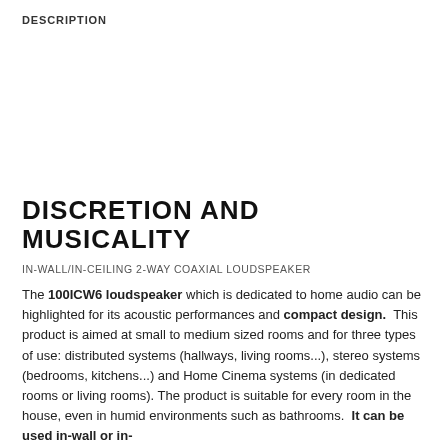DESCRIPTION
DISCRETION AND MUSICALITY
IN-WALL/IN-CEILING 2-WAY COAXIAL LOUDSPEAKER
The 100ICW6 loudspeaker which is dedicated to home audio can be highlighted for its acoustic performances and compact design.  This product is aimed at small to medium sized rooms and for three types of use: distributed systems (hallways, living rooms...), stereo systems (bedrooms, kitchens...) and Home Cinema systems (in dedicated rooms or living rooms). The product is suitable for every room in the house, even in humid environments such as bathrooms.  It can be used in-wall or in-